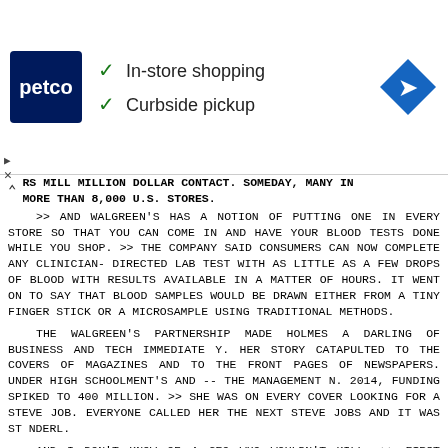[Figure (screenshot): Petco advertisement banner showing Petco logo (dark blue with white text), checkmarks for 'In-store shopping' and 'Curbside pickup', and a blue navigation/direction diamond icon on the right.]
RS MILL MILLION DOLLAR CONTACT. SOMEDAY, MANY IN MORE THAN 8,000 U.S. STORES.
>> AND WALGREEN'S HAS A NOTION OF PUTTING ONE IN EVERY STORE SO THAT YOU CAN COME IN AND HAVE YOUR BLOOD TESTS DONE WHILE YOU SHOP. >> THE COMPANY SAID CONSUMERS CAN NOW COMPLETE ANY CLINICIAN- DIRECTED LAB TEST WITH AS LITTLE AS A FEW DROPS OF BLOOD WITH RESULTS AVAILABLE IN A MATTER OF HOURS. IT WENT ON TO SAY THAT BLOOD SAMPLES WOULD BE DRAWN EITHER FROM A TINY FINGER STICK OR A MICROSAMPLE USING TRADITIONAL METHODS.
THE WALGREEN'S PARTNERSHIP MADE HOLMES A DARLING OF BUSINESS AND TECH IMMEDIATE Y. HER STORY CATAPULTED TO THE COVERS OF MAGAZINES AND TO THE FRONT PAGES OF NEWSPAPERS. UNDER HIGH SCHOOLMENT'S AND -- THE MANAGEMENT N. 2014, FUNDING SPIKED TO 400 MILLION. >> SHE WAS ON EVERY COVER LOOKING FOR A STEVE JOB. EVERYONE CALLED HER THE NEXT STEVE JOBS AND IT WAS ST NDERL.
AND I DON'T KNOW OF A CEO WHO WOULDN'T KILL. >> FIRST RESPORTED THE ANALYZER COULD PERFORM HUNDREDS OF BLOOD TESTS AND AS MANY AS 30 FROM A SINGLE DROP. HOLMES SOON